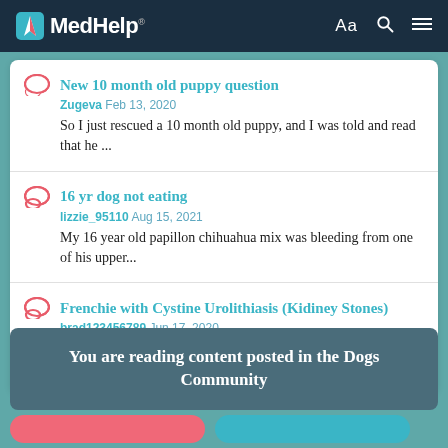MedHelp
New 10 month old puppy question
Zugeva Feb 13, 2020
So I just rescued a 10 month old puppy, and I was told and read that he ...
16 yr dog not eating
lizzie_95110 Aug 15, 2021
My 16 year old papillon chihuahua mix was bleeding from one of his upper...
Frenchie with Cystine Urolithiasis (Kidiney Stones)
brad123456789 Jun 17, 2020
I'm hoping for some guidance here. I have a 4 year old French Bulldog...
You are reading content posted in the Dogs Community